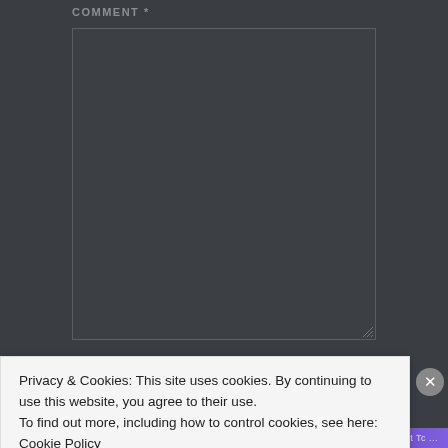COMMENT *
[Figure (screenshot): Empty comment textarea input field with dark background and border]
NAME *
[Figure (screenshot): Empty name input field with dark background and border]
Privacy & Cookies: This site uses cookies. By continuing to use this website, you agree to their use.
To find out more, including how to control cookies, see here: Cookie Policy
Close and accept